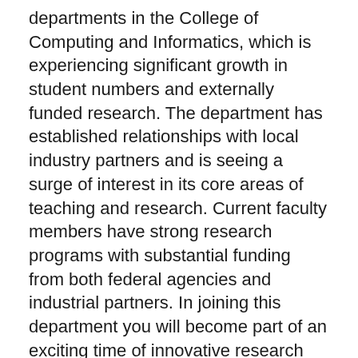departments in the College of Computing and Informatics, which is experiencing significant growth in student numbers and externally funded research. The department has established relationships with local industry partners and is seeing a surge of interest in its core areas of teaching and research. Current faculty members have strong research programs with substantial funding from both federal agencies and industrial partners. In joining this department you will become part of an exciting time of innovative research and new curriculum development. UNC Charlotte is North Carolina's urban research university. Located in the state's largest metropolitan area, UNC Charlotte is among the fastest growing universities in the UNC System.
Successful candidates will be expected to conduct research in their fields of expertise, teach courses in related areas, and participate in other department and